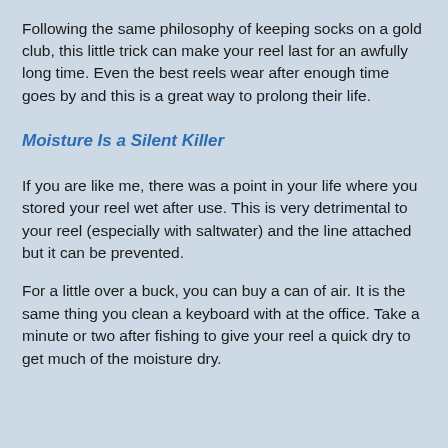Following the same philosophy of keeping socks on a gold club, this little trick can make your reel last for an awfully long time. Even the best reels wear after enough time goes by and this is a great way to prolong their life.
Moisture Is a Silent Killer
If you are like me, there was a point in your life where you stored your reel wet after use. This is very detrimental to your reel (especially with saltwater) and the line attached but it can be prevented.
For a little over a buck, you can buy a can of air. It is the same thing you clean a keyboard with at the office. Take a minute or two after fishing to give your reel a quick dry to get much of the moisture dry.